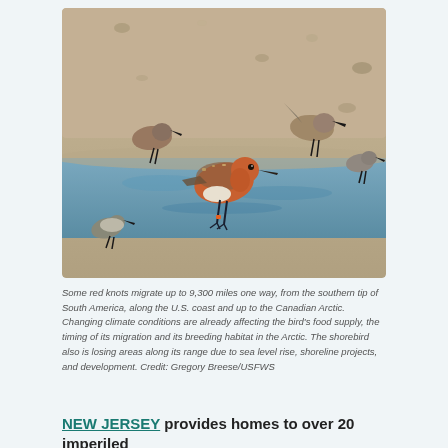[Figure (photo): Photo of red knot shorebirds wading in shallow water. The central bird is a red knot with distinctive russet-orange plumage on its breast and face. Other smaller shorebirds are visible around it. The background shows a sandy/pebbly shoreline.]
Some red knots migrate up to 9,300 miles one way, from the southern tip of South America, along the U.S. coast and up to the Canadian Arctic. Changing climate conditions are already affecting the bird's food supply, the timing of its migration and its breeding habitat in the Arctic. The shorebird also is losing areas along its range due to sea level rise, shoreline projects, and development. Credit: Gregory Breese/USFWS
NEW JERSEY provides homes to over 20 imperiled